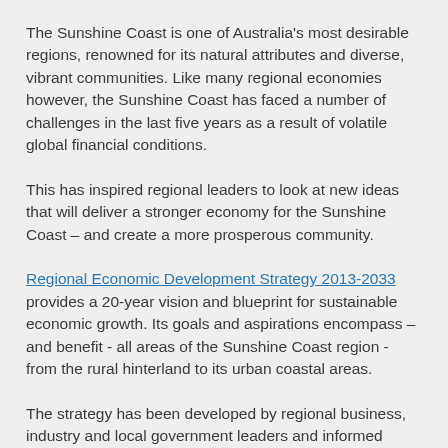The Sunshine Coast is one of Australia's most desirable regions, renowned for its natural attributes and diverse, vibrant communities. Like many regional economies however, the Sunshine Coast has faced a number of challenges in the last five years as a result of volatile global financial conditions.
This has inspired regional leaders to look at new ideas that will deliver a stronger economy for the Sunshine Coast – and create a more prosperous community.
Regional Economic Development Strategy 2013-2033 provides a 20-year vision and blueprint for sustainable economic growth. Its goals and aspirations encompass – and benefit - all areas of the Sunshine Coast region - from the rural hinterland to its urban coastal areas.
The strategy has been developed by regional business, industry and local government leaders and informed through valuable contributions from Sunshine Coast residents and community organisations.
The strategy seeks to ensure the region realises its full potential – with a confident future and as an active participant in the global